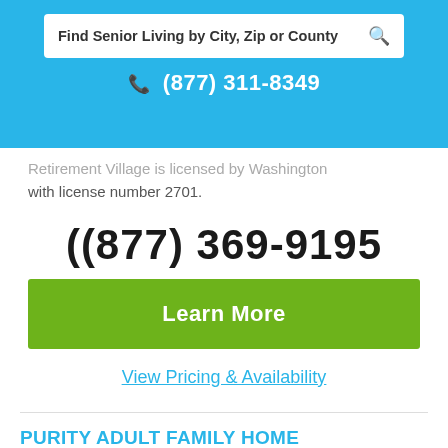Find Senior Living by City, Zip or County
(877) 311-8349
Retirement Village is licensed by Washington with license number 2701.
(877) 369-9195
Learn More
View Pricing & Availability
PURITY ADULT FAMILY HOME ENTERPRISES
Retirees looking for senior living communities in Spokane Valley, Washington that accept pets